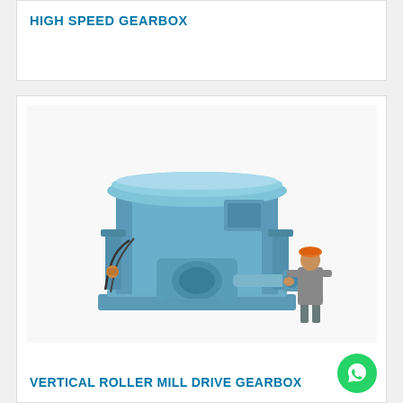HIGH SPEED GEARBOX
[Figure (photo): Large blue vertical roller mill drive gearbox industrial machine with a worker wearing an orange hard hat standing next to it for scale, showing various pipes and mechanical components.]
VERTICAL ROLLER MILL DRIVE GEARBOX